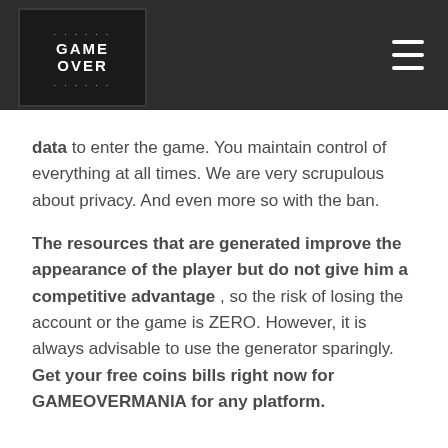GAME OVER [logo]
data to enter the game. You maintain control of everything at all times. We are very scrupulous about privacy. And even more so with the ban.
The resources that are generated improve the appearance of the player but do not give him a competitive advantage , so the risk of losing the account or the game is ZERO. However, it is always advisable to use the generator sparingly. Get your free coins bills right now for GAMEOVERMANIA for any platform.